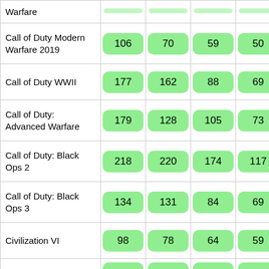| Game | Col1 | Col2 | Col3 | Col4 |
| --- | --- | --- | --- | --- |
| Warfare |  |  |  |  |
| Call of Duty Modern Warfare 2019 | 106 | 70 | 59 | 50 |
| Call of Duty WWII | 177 | 162 | 88 | 69 |
| Call of Duty: Advanced Warfare | 179 | 128 | 105 | 73 |
| Call of Duty: Black Ops 2 | 218 | 220 | 174 | 117 |
| Call of Duty: Black Ops 3 | 134 | 131 | 84 | 69 |
| Civilization VI | 98 | 78 | 64 | 59 |
| Company of Heroes 2 | 63 | 61 | 61 | 43 |